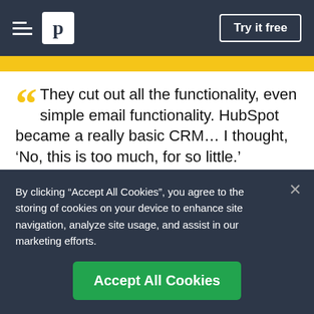Pipedrive — Try it free
[Figure (illustration): Yellow banner strip below navigation bar]
““ They cut out all the functionality, even simple email functionality. HubSpot became a really basic CRM… I thought, ‘No, this is too much, for so little.’
Jim Moustakas
By clicking “Accept All Cookies”, you agree to the storing of cookies on your device to enhance site navigation, analyze site usage, and assist in our marketing efforts.
Accept All Cookies